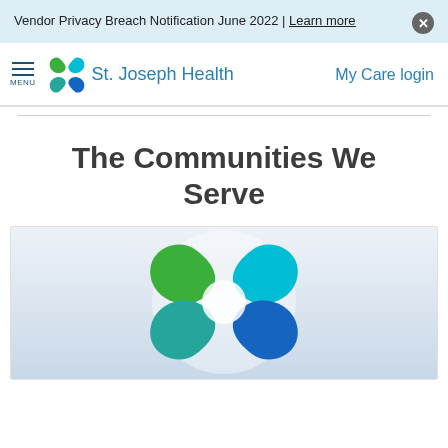Vendor Privacy Breach Notification June 2022 | Learn more
[Figure (logo): St. Joseph Health logo with green and teal cross/star icon and blue text 'St. Joseph Health']
My Care login
The Communities We Serve
[Figure (logo): Large St. Joseph Health cross/star logo in green, teal, and dark blue on a gradient blue-grey background]